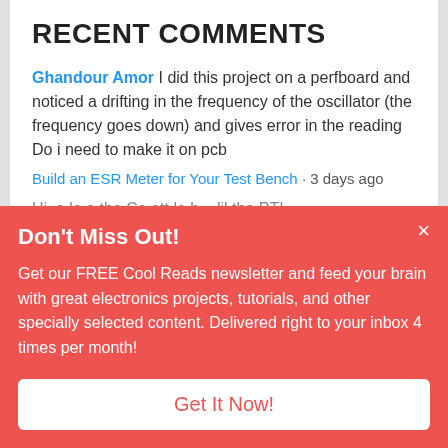RECENT COMMENTS
Ghandour Amor I did this project on a perfboard and noticed a drifting in the frequency of the oscillator (the frequency goes down) and gives error in the reading Do i need to make it on pcb
Build an ESR Meter for Your Test Bench · 3 days ago
Don't Miss Out!
Get our FREE Cool Reads newsletter and feed your brain with great electronics projects, tutorials, and other specially selected content. Delivered right to your inbox 4 times per month!
Get It Now!